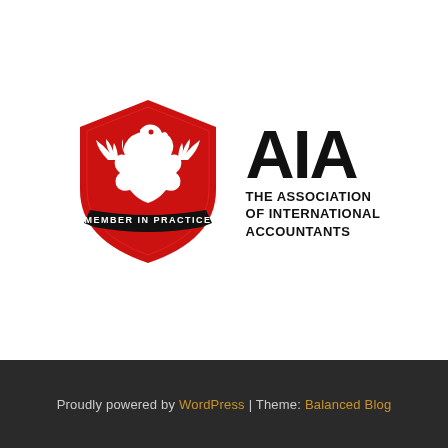[Figure (logo): AIA – The Association of International Accountants logo. A red shield with a white phoenix/eagle illustration and a black banner reading 'MEMBER IN PRACTICE', alongside bold black text 'AIA' and subtitle 'THE ASSOCIATION OF INTERNATIONAL ACCOUNTANTS'.]
Proudly powered by WordPress | Theme: Balanced Blog